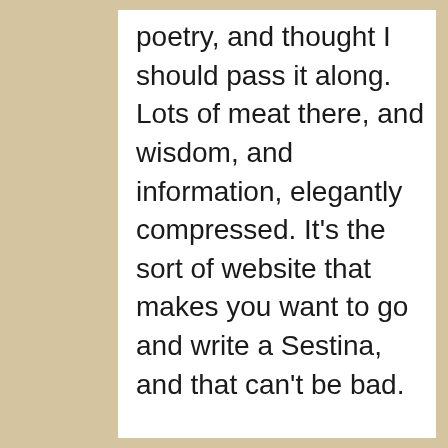poetry, and thought I should pass it along. Lots of meat there, and wisdom, and information, elegantly compressed. It's the sort of website that makes you want to go and write a Sestina, and that can't be bad.